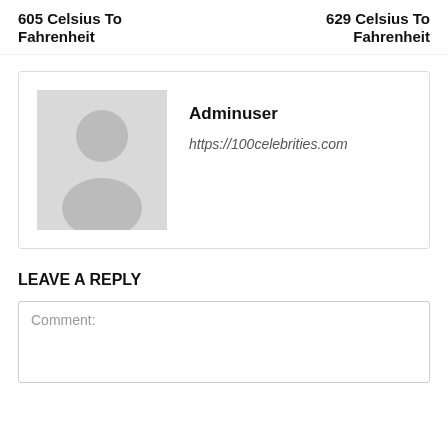605 Celsius To Fahrenheit
629 Celsius To Fahrenheit
[Figure (illustration): Generic user avatar placeholder image — grey silhouette of a person on a light grey background]
Adminuser
https://100celebrities.com
LEAVE A REPLY
Comment: